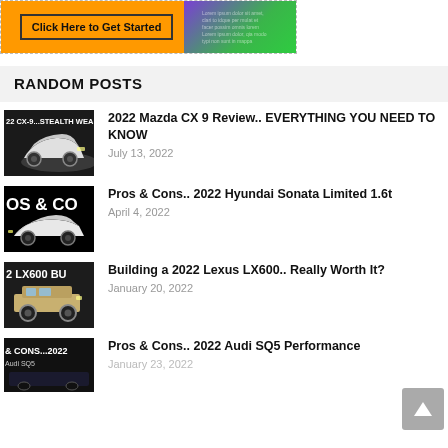[Figure (photo): Advertisement banner with orange 'Click Here to Get Started' button on green/purple background]
RANDOM POSTS
[Figure (photo): Thumbnail for 2022 Mazda CX-9 article showing white SUV on dark background with text '22 CX-9...STEALTH WEA']
2022 Mazda CX 9 Review.. EVERYTHING YOU NEED TO KNOW
July 13, 2022
[Figure (photo): Thumbnail for 2022 Hyundai Sonata article showing white sedan with text 'OS & CO']
Pros & Cons.. 2022 Hyundai Sonata Limited 1.6t
April 4, 2022
[Figure (photo): Thumbnail for 2022 Lexus LX600 article showing gold SUV with text '2 LX600 BU']
Building a 2022 Lexus LX600.. Really Worth It?
January 20, 2022
[Figure (photo): Thumbnail for 2022 Audi SQ5 article with text '& CONS...2022']
Pros & Cons.. 2022 Audi SQ5 Performance
January 23, 2022